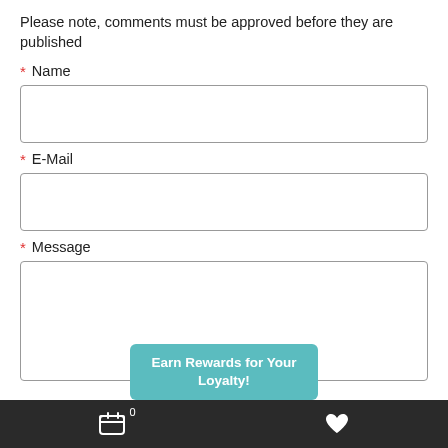Please note, comments must be approved before they are published
* Name
[Figure (other): Empty text input box for Name field]
* E-Mail
[Figure (other): Empty text input box for E-Mail field]
* Message
[Figure (other): Empty large textarea for Message field]
Earn Rewards for Your Loyalty!
[Figure (other): Bottom navigation bar with cart icon showing 0 count and heart/wishlist icon on dark background]